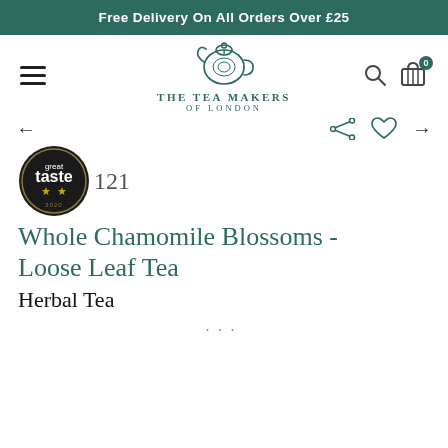Free Delivery On All Orders Over £25
[Figure (logo): The Tea Makers of London logo — decorative teapot icon above the brand name THE TEA MAKERS OF LONDON]
121
Whole Chamomile Blossoms - Loose Leaf Tea
Herbal Tea
...